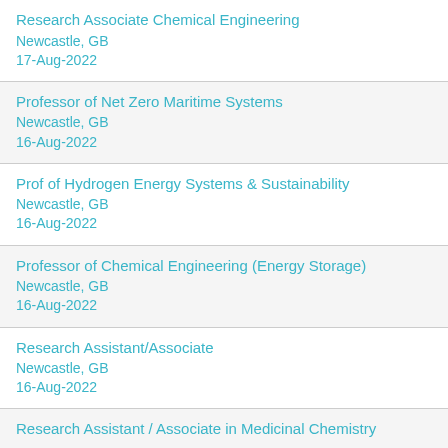Research Associate Chemical Engineering
Newcastle, GB
17-Aug-2022
Professor of Net Zero Maritime Systems
Newcastle, GB
16-Aug-2022
Prof of Hydrogen Energy Systems & Sustainability
Newcastle, GB
16-Aug-2022
Professor of Chemical Engineering (Energy Storage)
Newcastle, GB
16-Aug-2022
Research Assistant/Associate
Newcastle, GB
16-Aug-2022
Research Assistant / Associate in Medicinal Chemistry